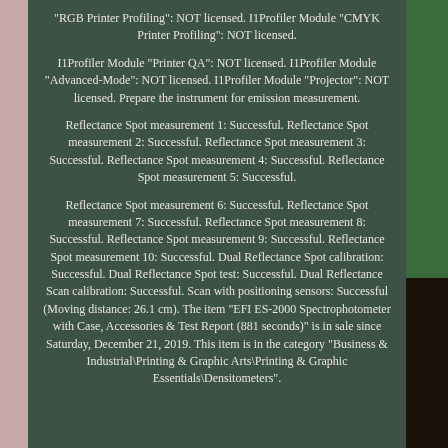"RGB Printer Profiling": NOT licensed. I1Profiler Module "CMYK Printer Profiling": NOT licensed.
I1Profiler Module "Printer QA": NOT licensed. I1Profiler Module "Advanced-Mode": NOT licensed. I1Profiler Module "Projector": NOT licensed. Prepare the instrument for emission measurement.
Reflectance Spot measurement 1: Successful. Reflectance Spot measurement 2: Successful. Reflectance Spot measurement 3: Successful. Reflectance Spot measurement 4: Successful. Reflectance Spot measurement 5: Successful.
Reflectance Spot measurement 6: Successful. Reflectance Spot measurement 7: Successful. Reflectance Spot measurement 8: Successful. Reflectance Spot measurement 9: Successful. Reflectance Spot measurement 10: Successful. Dual Reflectance Spot calibration: Successful. Dual Reflectance Spot test: Successful. Dual Reflectance Scan calibration: Successful. Scan with positioning sensors: Successful (Moving distance: 26.1 cm). The item "EFI ES-2000 Spectrophotometer with Case, Accessories & Test Report (881 seconds)" is in sale since Saturday, December 21, 2019. This item is in the category "Business & Industrial\Printing & Graphic Arts\Printing & Graphic Essentials\Densitometers".